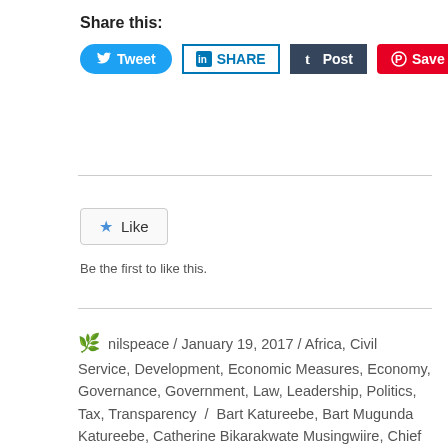Share this:
[Figure (screenshot): Social share buttons: Tweet (Twitter/blue), SHARE (LinkedIn/blue outline), Post (Tumblr/dark navy), Save (Pinterest/red)]
[Figure (screenshot): WordPress Like button with star icon]
Be the first to like this.
nilspeace / January 19, 2017 / Africa, Civil Service, Development, Economic Measures, Economy, Governance, Government, Law, Leadership, Politics, Tax, Transparency / Bart Katureebe, Bart Mugunda Katureebe, Catherine Bikarakwate Musingwiire, Chief Justice Bart Katureebe, Civil Servants, CJ Bart Katureebe, Constitutional Court, David Karubanga, DCJ Kavuma, Deputy Chief Justice Stephen Kavuma, Deputy Head of Public Service, Double Salary, East Africa, Government